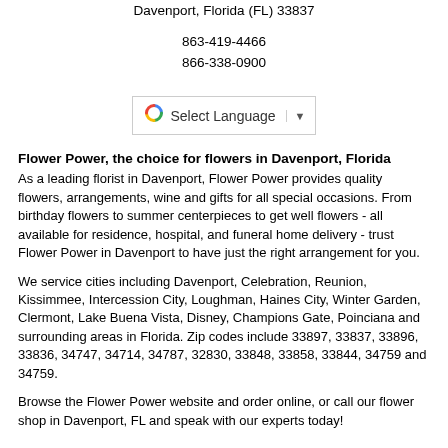Davenport, Florida (FL) 33837
863-419-4466
866-338-0900
[Figure (other): Google Translate widget with G logo, 'Select Language' text, and dropdown arrow]
Flower Power, the choice for flowers in Davenport, Florida
As a leading florist in Davenport, Flower Power provides quality flowers, arrangements, wine and gifts for all special occasions. From birthday flowers to summer centerpieces to get well flowers - all available for residence, hospital, and funeral home delivery - trust Flower Power in Davenport to have just the right arrangement for you.
We service cities including Davenport, Celebration, Reunion, Kissimmee, Intercession City, Loughman, Haines City, Winter Garden, Clermont, Lake Buena Vista, Disney, Champions Gate, Poinciana and surrounding areas in Florida. Zip codes include 33897, 33837, 33896, 33836, 34747, 34714, 34787, 32830, 33848, 33858, 33844, 34759 and 34759.
Browse the Flower Power website and order online, or call our flower shop in Davenport, FL and speak with our experts today!